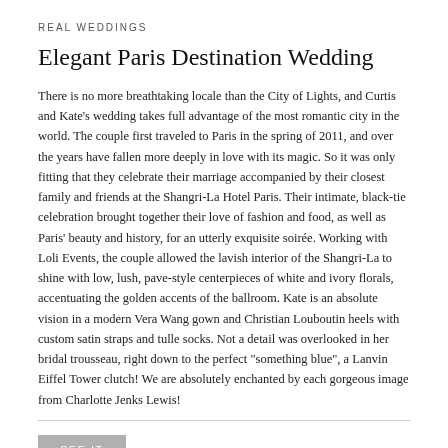REAL WEDDINGS
Elegant Paris Destination Wedding
There is no more breathtaking locale than the City of Lights, and Curtis and Kate's wedding takes full advantage of the most romantic city in the world. The couple first traveled to Paris in the spring of 2011, and over the years have fallen more deeply in love with its magic. So it was only fitting that they celebrate their marriage accompanied by their closest family and friends at the Shangri-La Hotel Paris. Their intimate, black-tie celebration brought together their love of fashion and food, as well as Paris' beauty and history, for an utterly exquisite soirée. Working with Loli Events, the couple allowed the lavish interior of the Shangri-La to shine with low, lush, pave-style centerpieces of white and ivory florals, accentuating the golden accents of the ballroom. Kate is an absolute vision in a modern Vera Wang gown and Christian Louboutin heels with custom satin straps and tulle socks. Not a detail was overlooked in her bridal trousseau, right down to the perfect "something blue", a Lanvin Eiffel Tower clutch! We are absolutely enchanted by each gorgeous image from Charlotte Jenks Lewis!
SEE IT